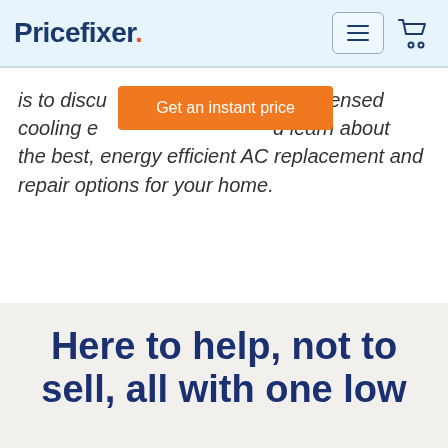Pricefixer
is to discuss with a licensed cooling expert and learn about the best, energy efficient AC replacement and repair options for your home.
[Figure (other): Orange CTA button with text 'Get an instant price' overlaying the body text]
Here to help, not to sell, all with one low